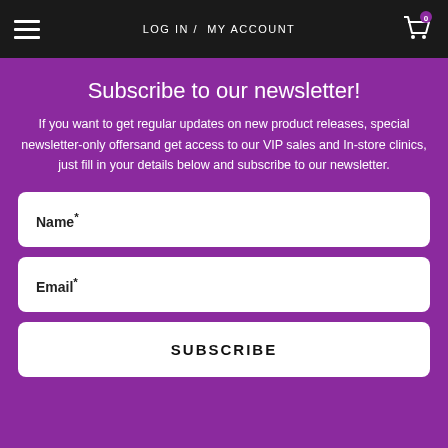LOG IN / MY ACCOUNT
Subscribe to our newsletter!
If you want to get regular updates on new product releases, special newsletter-only offersand get access to our VIP sales and In-store clinics, just fill in your details below and subscribe to our newsletter.
Name*
Email*
SUBSCRIBE